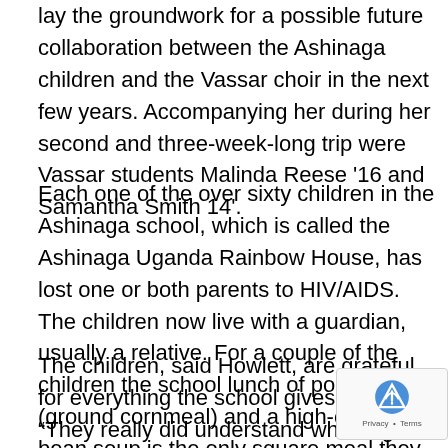lay the groundwork for a possible future collaboration between the Ashinaga children and the Vassar choir in the next few years. Accompanying her during her second and three-week-long trip were Vassar students Malinda Reese '16 and Samantha Smith 14'.
Each one of the over sixty children in the Ashinaga school, which is called the Ashinaga Uganda Rainbow House, has lost one or both parents to HIV/AIDS. The children now live with a guardian, usually a relative. For a couple of the children the school lunch of posho (ground cornmeal) and a high-caloric bean soup is the only square meal they receive the entire day.
The children, said Howlett, are grateful for everything the school gives them. "They really did understand what a gift it was compared to the hundreds of other orphans who don't get to go to school." Ashinaga will pay for the and supplies for those who are accepted to the school, but